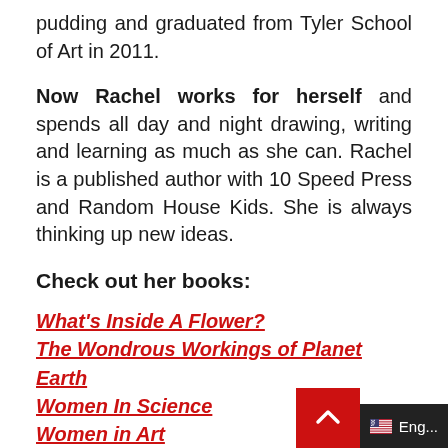pudding and graduated from Tyler School of Art in 2011.
Now Rachel works for herself and spends all day and night drawing, writing and learning as much as she can. Rachel is a published author with 10 Speed Press and Random House Kids. She is always thinking up new ideas.
Check out her books:
What’s Inside A Flower?
The Wondrous Workings of Planet Earth
Women In Science
Women in Art
Women In Sports